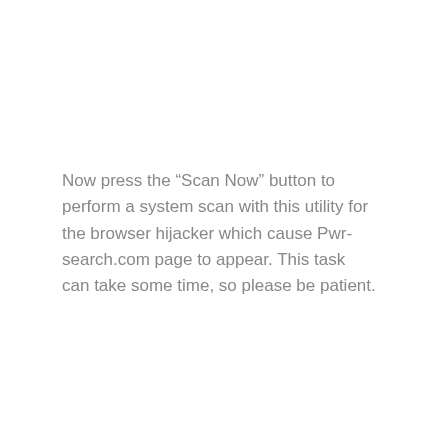Now press the “Scan Now” button to perform a system scan with this utility for the browser hijacker which cause Pwr-search.com page to appear. This task can take some time, so please be patient.